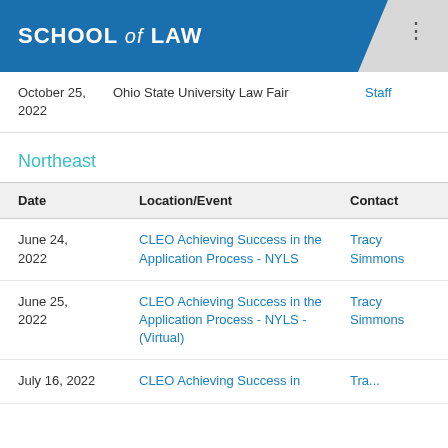SCHOOL of LAW
| Date | Location/Event | Contact |
| --- | --- | --- |
| October 25, 2022 | Ohio State University Law Fair | Staff |
Northeast
| Date | Location/Event | Contact |
| --- | --- | --- |
| June 24, 2022 | CLEO Achieving Success in the Application Process - NYLS | Tracy Simmons |
| June 25, 2022 | CLEO Achieving Success in the Application Process - NYLS - (Virtual) | Tracy Simmons |
| July 16, 2022 | CLEO Achieving Success in... | Tracy... |